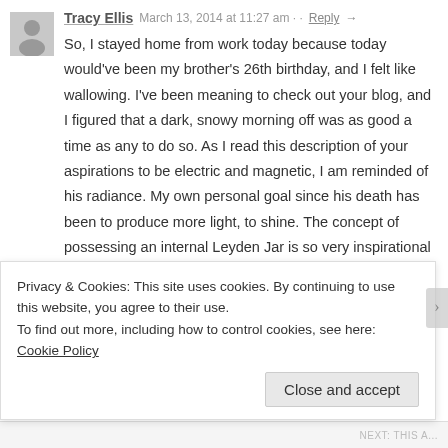Tracy Ellis  March 13, 2014 at 11:27 am  Reply →
So, I stayed home from work today because today would've been my brother's 26th birthday, and I felt like wallowing. I've been meaning to check out your blog, and I figured that a dark, snowy morning off was as good a time as any to do so. As I read this description of your aspirations to be electric and magnetic, I am reminded of his radiance. My own personal goal since his death has been to produce more light, to shine. The concept of possessing an internal Leyden Jar is so very inspirational to me, so thank you for giving me some much-needed electricity this morning. Hope you're having a wildly rad time in Dubai or Turkey or wherever you find yourself today.
Privacy & Cookies: This site uses cookies. By continuing to use this website, you agree to their use.
To find out more, including how to control cookies, see here: Cookie Policy
Close and accept